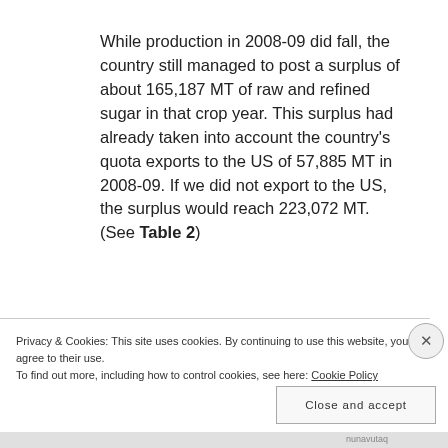While production in 2008-09 did fall, the country still managed to post a surplus of about 165,187 MT of raw and refined sugar in that crop year. This surplus had already taken into account the country's quota exports to the US of 57,885 MT in 2008-09. If we did not export to the US, the surplus would reach 223,072 MT. (See Table 2)
Privacy & Cookies: This site uses cookies. By continuing to use this website, you agree to their use. To find out more, including how to control cookies, see here: Cookie Policy
Close and accept